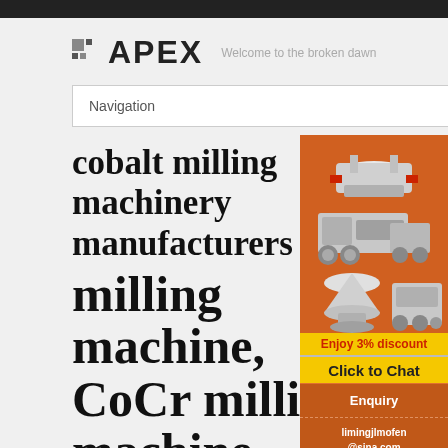APEX — Welcome to the broken dawn
Navigation
cobalt milling machinery manufacturers
milling machine, CoCr milling machine ...
[Figure (photo): Industrial milling machines and crushing equipment on orange background with 'Enjoy 3% discount' and 'Click to Chat' promotional buttons, plus Enquiry section and limingjlmofen@sina.com contact]
copying milling machine M-15. dental for benchtop. copying milling machine. M-15. Equipment